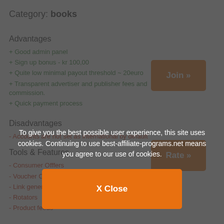Category: books
Advantages
+ Good admin panel
+ Sign up bonus - kr 100,00
+ Quite low minimal payout threshold ~ 20euro
+ Transparent advertiser and publisher fees and commission.
+ Quick payment process
Disadvantages
- Accounts are not set as international by default
Tools & Features
- Consumer Offfers
- Voucher Codes
- Link generator
- Rotators
- Product feeds
To give you the best possible user experience, this site uses cookies. Continuing to use best-affiliate-programs.net means you agree to our use of cookies.